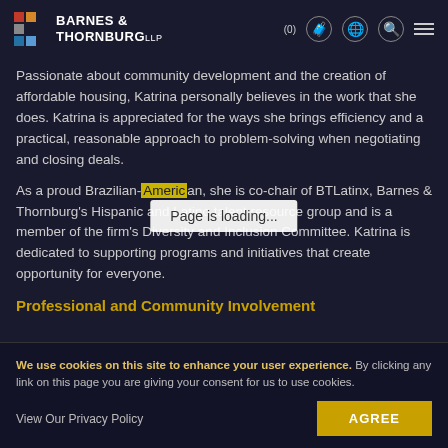Barnes & Thornburg LLP (0)
Passionate about community development and the creation of affordable housing, Katrina personally believes in the work that she does. Katrina is appreciated for the ways she brings efficiency and a practical, reasonable approach to problem-solving when negotiating and closing deals.
As a proud Brazilian-American, she is co-chair of BTLatinx, Barnes & Thornburg's Hispanic and Latino talent resource group and is a member of the firm's Diversity and Inclusion Committee. Katrina is dedicated to supporting programs and initiatives that create opportunity for everyone.
Professional and Community Involvement
Page is loading...
We use cookies on this site to enhance your user experience. By clicking any link on this page you are giving your consent for us to use cookies.
View Our Privacy Policy
AGREE